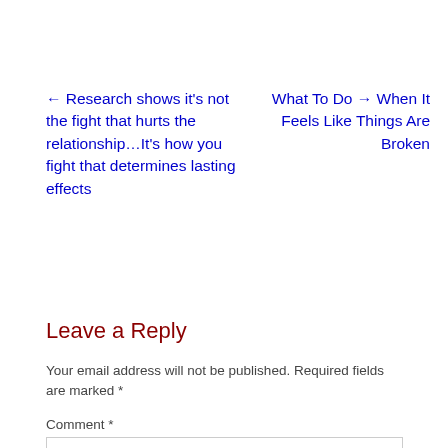← Research shows it's not the fight that hurts the relationship…It's how you fight that determines lasting effects
What To Do → When It Feels Like Things Are Broken
Leave a Reply
Your email address will not be published. Required fields are marked *
Comment *